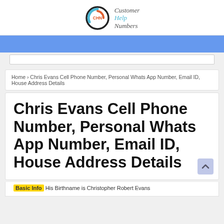[Figure (logo): Customer Help Numbers logo: circular CHN emblem with spiral design next to text 'Customer Help Numbers' in stylized font]
Navigation bar (blue)
Home > Chris Evans Cell Phone Number, Personal Whats App Number, Email ID, House Address Details
Chris Evans Cell Phone Number, Personal Whats App Number, Email ID, House Address Details
Basic Info His Birthname is Christopher Robert Evans